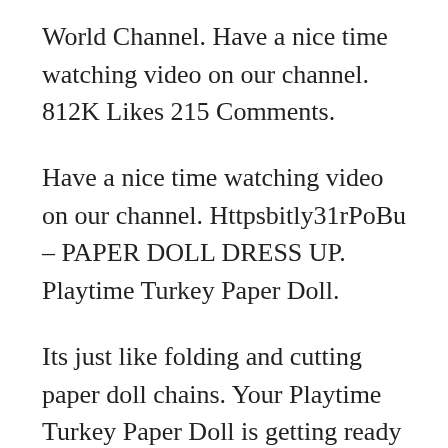World Channel. Have a nice time watching video on our channel. 812K Likes 215 Comments.
Have a nice time watching video on our channel. Httpsbitly31rPoBu – PAPER DOLL DRESS UP. Playtime Turkey Paper Doll.
Its just like folding and cutting paper doll chains. Your Playtime Turkey Paper Doll is getting ready for the big Thanksgiving Day Parade. The string needs to.
My content build in this channel is owned by